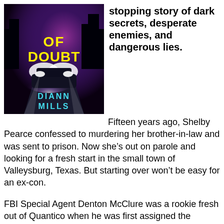[Figure (illustration): Book cover for 'A Place of Doubt' by DiAnn Mills. Black background with car headlights, neon purple and teal colors, yellow bold title text 'OF DOUBT' and author name 'DIANN MILLS' in teal.]
stopping story of dark secrets, desperate enemies, and dangerous lies.
Fifteen years ago, Shelby Pearce confessed to murdering her brother-in-law and was sent to prison. Now she's out on parole and looking for a fresh start in the small town of Valleysburg, Texas. But starting over won't be easy for an ex-con.
FBI Special Agent Denton McClure was a rookie fresh out of Quantico when he was first assigned the Pearce case. He's always believed Shelby embezzled five hundred thousand dollars from her brother-in-law's account. So he's going undercover to befriend Shelby, track down the missing money, and finally crack this case.
But as Denton gets closer to Shelby, he begins to have a